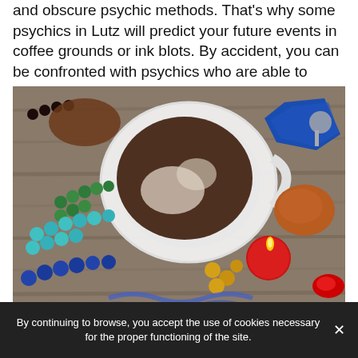and obscure psychic methods. That's why some psychics in Lutz will predict your future events in coffee grounds or ink blots. By accident, you can be confronted with psychics who are able to predict the future just by using runes.
[Figure (photo): A white coffee cup lying on its side on a wooden table, with coffee grounds residue inside. Surrounding the cup are colorful crystal stones (blue, orange), turquoise and green beaded necklaces, gold coins, a lit red tea candle, and various mystical/fortune-telling accessories.]
By continuing to browse, you accept the use of cookies necessary for the proper functioning of the site.